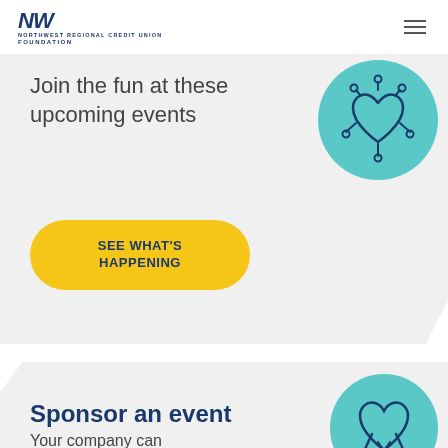NW FOUNDATION
Join the fun at these upcoming events
[Figure (illustration): Teal circle with a heart icon surrounded by decorative elements]
SEE WHAT'S HAPPENING
Sponsor an event
Your company can
[Figure (illustration): Teal circle with a heart and ribbon icon]